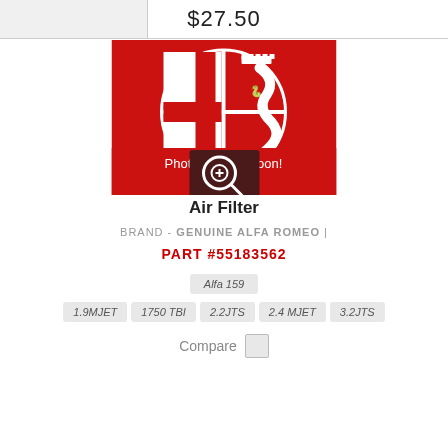$27.50
[Figure (logo): Alfa Romeo logo on red background with text 'Photos coming soon!' and magnifier icon overlay]
Air Filter
BRAND - GENUINE ALFA ROMEO |
PART #55183562
Alfa 159
1.9MJET
1750 TBI
2.2JTS
2.4 MJET
3.2JTS
Compare